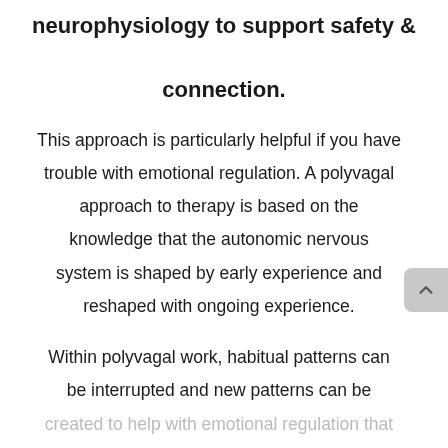neurophysiology to support safety & connection.
This approach is particularly helpful if you have trouble with emotional regulation. A polyvagal approach to therapy is based on the knowledge that the autonomic nervous system is shaped by early experience and reshaped with ongoing experience.
Within polyvagal work, habitual patterns can be interrupted and new patterns can be created to help with emotional regulation that...